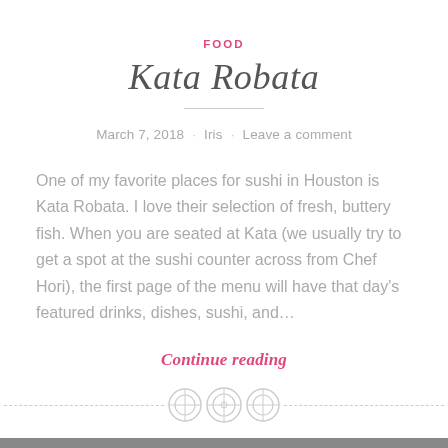FOOD
Kata Robata
March 7, 2018 · Iris · Leave a comment
One of my favorite places for sushi in Houston is Kata Robata. I love their selection of fresh, buttery fish. When you are seated at Kata (we usually try to get a spot at the sushi counter across from Chef Hori), the first page of the menu will have that day's featured drinks, dishes, sushi, and…
Continue reading
[Figure (illustration): Three decorative circular button-like icons arranged horizontally as a section separator, flanked by dashed horizontal lines]